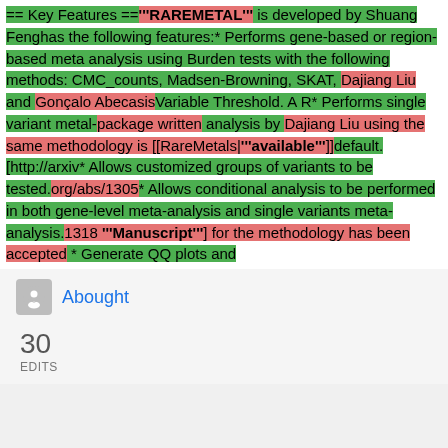== Key Features =="""RAREMETAL""" is developed by Shuang Fenghas the following features:* Performs gene-based or region-based meta analysis using Burden tests with the following methods: CMC_counts, Madsen-Browning, SKAT, Dajiang Liu and Gonçalo AbecasisVariable Threshold. A R* Performs single variant metal-package written analysis by Dajiang Liu using the same methodology is [[RareMetals|"""available"""]]​default.[http://arxiv* Allows customized groups of variants to be tested.org/abs/1305* Allows conditional analysis to be performed in both gene-level meta-analysis and single variants meta-analysis.1318 """Manuscript"""] for the methodology has been accepted * Generate QQ plots and
Abought
30 EDITS